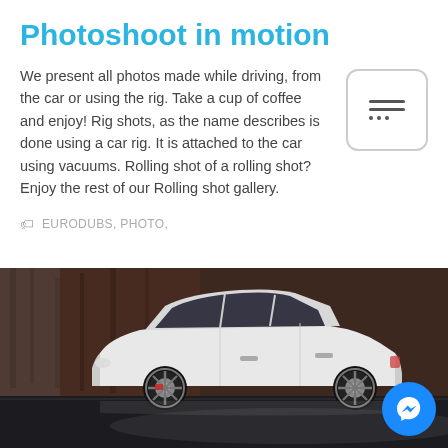Photoshoot in motion
We present all photos made while driving, from the car or using the rig. Take a cup of coffee and enjoy! Rig shots, as the name describes is done using a car rig. It is attached to the car using vacuums. Rolling shot of a rolling shot? Enjoy the rest of our Rolling shot gallery.
EURODUBS, PHOTO,
[Figure (photo): A white Volkswagen Golf hatchback photographed from the side, parked or driving on a wet surface with an industrial/construction background. A Facebook Messenger floating button appears in the bottom right corner.]